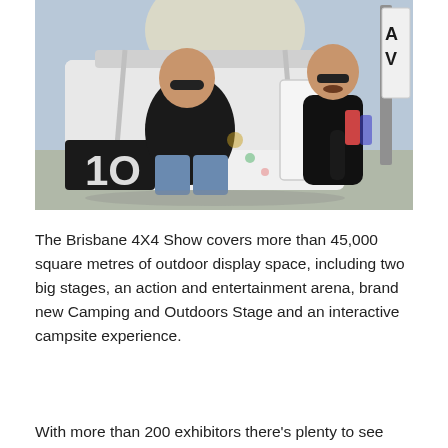[Figure (photo): Two men with sunglasses posing in and around the open door of a white 4WD/4X4 vehicle at an outdoor show. One man is seated inside the vehicle, the other is leaning on the open door. There is a flag banner visible on the right side. Sunlight is shining through in the background.]
The Brisbane 4X4 Show covers more than 45,000 square metres of outdoor display space, including two big stages, an action and entertainment arena, brand new Camping and Outdoors Stage and an interactive campsite experience.
With more than 200 exhibitors there's plenty to see and